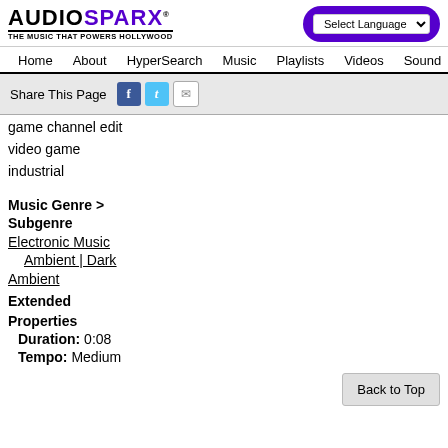[Figure (logo): AudioSparx logo with tagline 'THE MUSIC THAT POWERS HOLLYWOOD']
Select Language | Home | About | HyperSearch | Music | Playlists | Videos | Sound
Share This Page
game channel edit
video game
industrial
Music Genre >
Subgenre
Electronic Music
Ambient | Dark Ambient
Extended
Properties
Duration: 0:08
Tempo: Medium